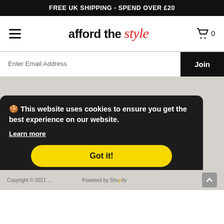FREE UK SHIPPING - SPEND OVER £20
[Figure (logo): Afford the Style logo with hamburger menu and cart icon showing 0 items]
Enter Email Address
Join
🍪 This website uses cookies to ensure you get the best experience on our website.
Learn more
Got it!
Copyright © 2021 ... Powered by Shopify